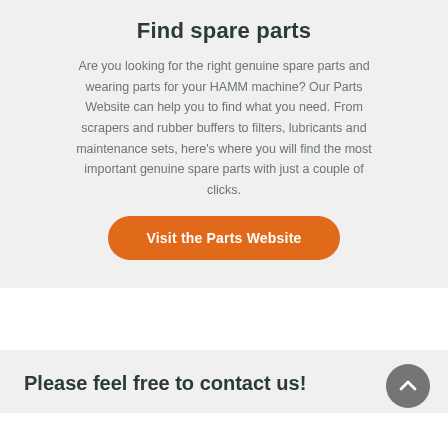Find spare parts
Are you looking for the right genuine spare parts and wearing parts for your HAMM machine? Our Parts Website can help you to find what you need. From scrapers and rubber buffers to filters, lubricants and maintenance sets, here's where you will find the most important genuine spare parts with just a couple of clicks.
Visit the Parts Website
Please feel free to contact us!